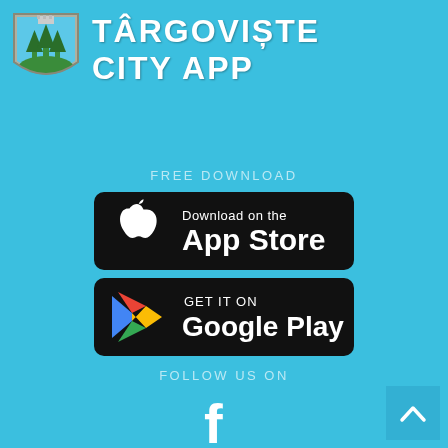[Figure (logo): Târgoviște city coat of arms / shield logo in top-left corner]
TÂRGOVIȘTE CITY APP
FREE DOWNLOAD
[Figure (other): Download on the App Store button (black rounded rectangle with Apple logo)]
[Figure (other): Get it on Google Play button (black rounded rectangle with Google Play triangle logo)]
FOLLOW US ON
[Figure (other): Facebook 'f' icon in white]
[Figure (other): Back to top chevron button in bottom-right corner]